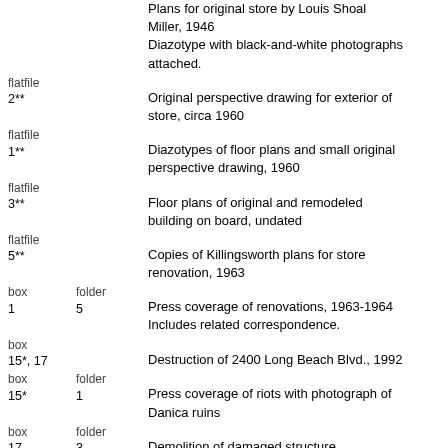Plans for original store by Louis Shoal Miller, 1946
Diazotype with black-and-white photographs attached.
flatfile 2** — Original perspective drawing for exterior of store, circa 1960
flatfile 1** — Diazotypes of floor plans and small original perspective drawing, 1960
flatfile 3** — Floor plans of original and remodeled building on board, undated
flatfile 5** — Copies of Killingsworth plans for store renovation, 1963
box 1, folder 5 — Press coverage of renovations, 1963-1964
Includes related correspondence.
box 15*, 17 — Destruction of 2400 Long Beach Blvd., 1992
box 15*, folder 1 — Press coverage of riots with photograph of Danica ruins
box 17, folder 3 — Demolition of damaged structure
box 1, 9, 17 — General interior and exterior views, 1947-1969